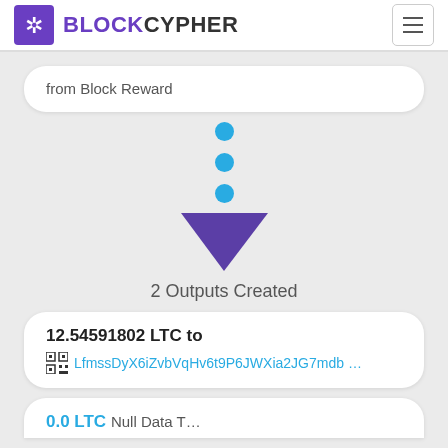BLOCKCYPHER
from Block Reward
[Figure (infographic): Three blue dots above a purple downward-pointing arrow indicating transaction flow]
2 Outputs Created
12.54591802 LTC to LfmssDyX6iZvbVqHv6t9P6JWXia2JG7mdb ...
0.0 LTC to ...